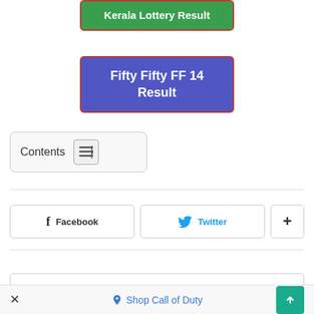Kerala Lottery Result
Fifty Fifty FF 14 Result
Contents
Facebook
Twitter
Shop Call of Duty